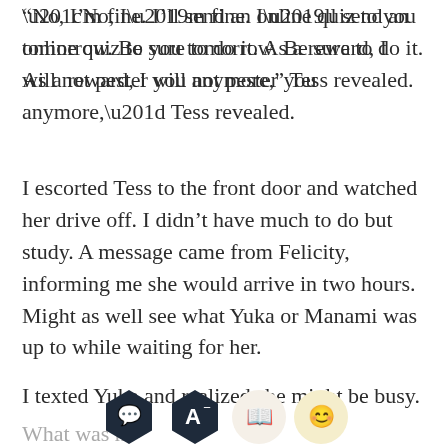“No, I’m fine. I’ll send an online quiz to you tomorrow. Be sure to do it. As a reward, I will not pester you anymore,” Tess revealed.
I escorted Tess to the front door and watched her drive off. I didn’t have much to do but study. A message came from Felicity, informing me she would arrive in two hours. Might as well see what Yuka or Manami was up to while waiting for her.
I texted Yuka and realized she might be busy.
What was h...
[Figure (other): App toolbar overlay with four icons: speech bubble (dark navy hexagon), font size A- (dark navy hexagon), book (orange/amber circle), and face emoji (light beige circle)]